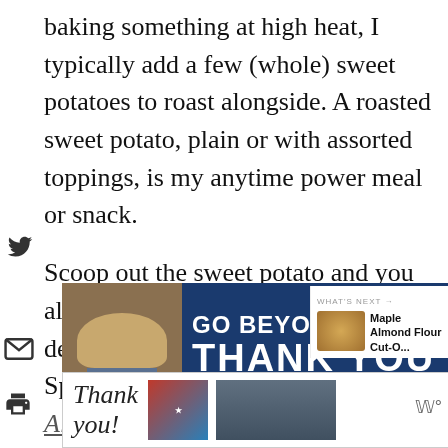baking something at high heat, I typically add a few (whole) sweet potatoes to roast alongside. A roasted sweet potato, plain or with assorted toppings, is my anytime power meal or snack.
Scoop out the sweet potato and you also have the makings of a seriously delicious and addictive cookie, too. Specifically, my Sweet Potato Almond Flour Cookies.
[Figure (screenshot): Advertisement banner showing 'GO BEYOND SAY THANK YOU' on dark blue background with a soldier image and a 'Thank you' handwritten card. Includes Operation Gratitude logo.]